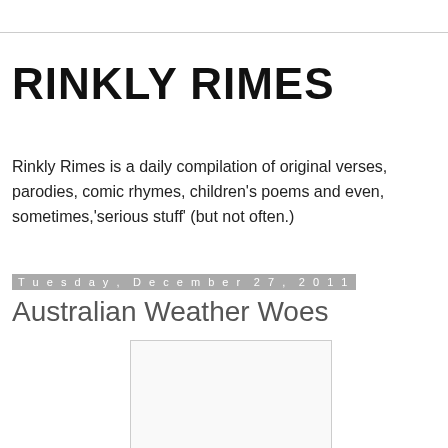RINKLY RIMES
Rinkly Rimes is a daily compilation of original verses, parodies, comic rhymes, children's poems and even, sometimes,'serious stuff' (but not often.)
Tuesday, December 27, 2011
Australian Weather Woes
[Figure (other): Blank white image placeholder]